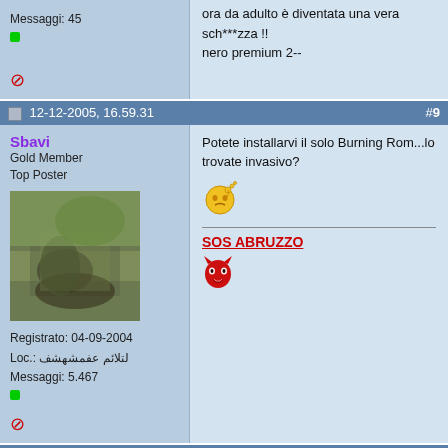Messaggi: 45
ora da adulto è diventata una vera sch***zza !!
nero premium 2--
12-12-2005, 16.59.31  #9
Sbavi
Gold Member
Top Poster
Registrato: 04-09-2004
Loc.: لتلائم عفمشهشف
Messaggi: 5.467
Potete installarvi il solo Burning Rom...lo trovate invasivo?
SOS ABRUZZO
12-12-2005, 17.06.49  #10
igoritaly
Junior Member
Registrato: 20-12-2000
Messaggi: 68
E' fatto semplicemente male il programma di aggiornamento...perchè una volta installato devo:
- disinstallare
- riavviare